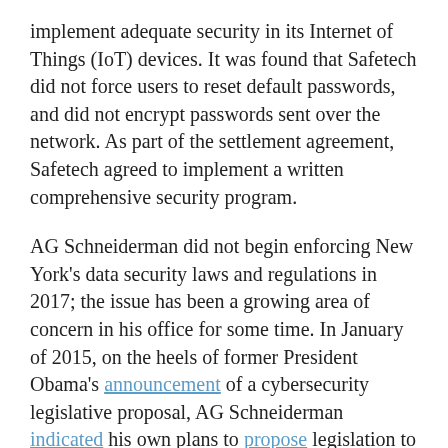implement adequate security in its Internet of Things (IoT) devices. It was found that Safetech did not force users to reset default passwords, and did not encrypt passwords sent over the network. As part of the settlement agreement, Safetech agreed to implement a written comprehensive security program.
AG Schneiderman did not begin enforcing New York's data security laws and regulations in 2017; the issue has been a growing area of concern in his office for some time. In January of 2015, on the heels of former President Obama's announcement of a cybersecurity legislative proposal, AG Schneiderman indicated his own plans to propose legislation to heighten New York's data security laws.